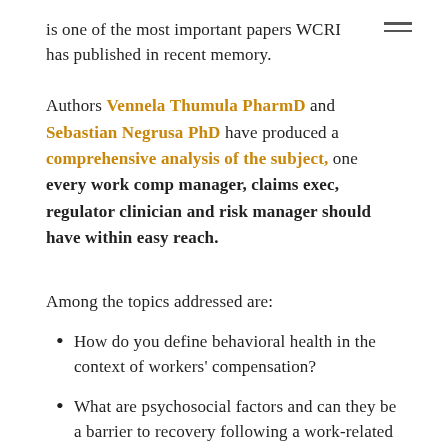is one of the most important papers WCRI has published in recent memory.
Authors Vennela Thumula PharmD and Sebastian Negrusa PhD have produced a comprehensive analysis of the subject, one every work comp manager, claims exec, regulator clinician and risk manager should have within easy reach.
Among the topics addressed are:
How do you define behavioral health in the context of workers' compensation?
What are psychosocial factors and can they be a barrier to recovery following a work-related